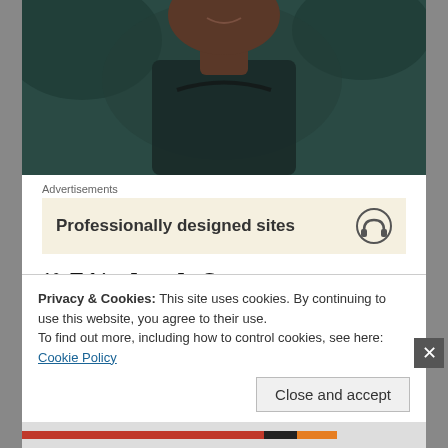[Figure (photo): Close-up portrait photo of a person smiling, wearing a dark blue/black shirt, with a dark blurred background]
Advertisements
[Figure (screenshot): Advertisement banner with text 'Professionally designed sites' and a headphone icon on a beige/cream background]
10. Tobias Jesso Jr, Goon
2015 was a big year for the Canadian-born singer-songwriter, who rose from the ranks of several years
Privacy & Cookies: This site uses cookies. By continuing to use this website, you agree to their use.
To find out more, including how to control cookies, see here: Cookie Policy
Close and accept